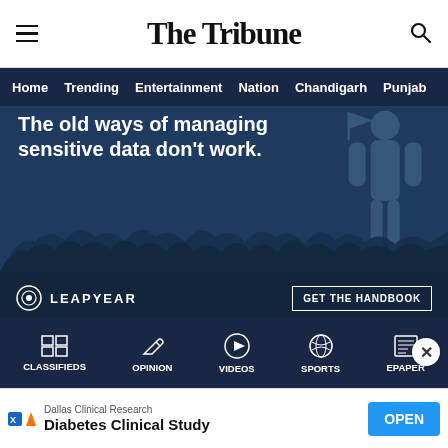The Tribune
[Figure (screenshot): Navigation bar with links: Home, Trending, Entertainment, Nation, Chandigarh, Punjab]
[Figure (photo): Advertisement banner for Leapyear. Text: 'The old ways of managing sensitive data don't work.' Logo: LEAPYEAR. Button: GET THE HANDBOOK]
Last month, the Telangana government was granted conditional exemption for conducting experimental delivery of Covid-19 vaccines within Visual Line of Sight (VLOS). P...
[Figure (screenshot): Bottom navigation bar with: CLASSIFIEDS, OPINION, VIDEOS, SPORTS, EPAPER icons and labels]
[Figure (screenshot): Bottom advertisement: Dallas Clinical Research - Diabetes Clinical Study - OPEN button]